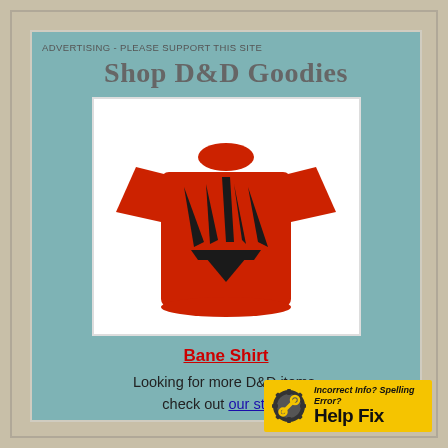ADVERTISING - PLEASE SUPPORT THIS SITE
Shop D&D Goodies
[Figure (photo): Red t-shirt with a large black bear/monster claw print design on the front]
Bane Shirt
Looking for more D&D items, check out our store.
[Figure (logo): Help Fix badge - yellow background with wrench/gear icon and text: Incorrect Info? Spelling Error? Help Fix]